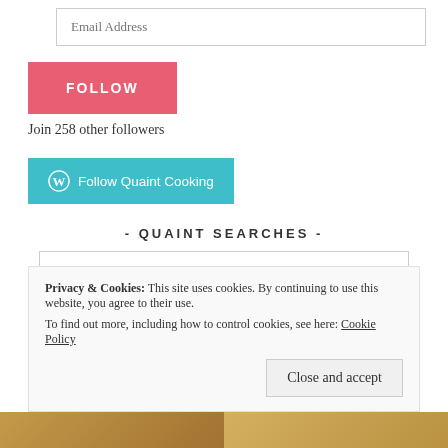Email Address
[Figure (other): Red FOLLOW button]
Join 258 other followers
[Figure (other): WordPress Follow Quaint Cooking button (teal)]
- QUAINT SEARCHES -
Search …
Privacy & Cookies: This site uses cookies. By continuing to use this website, you agree to their use.
To find out more, including how to control cookies, see here: Cookie Policy
[Figure (other): Close and accept button]
[Figure (photo): Two partial food/product images at the bottom of the page]